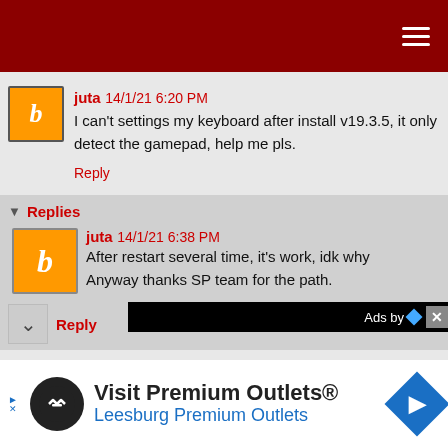juta 14/1/21 6:20 PM
I can't settings my keyboard after install v19.3.5, it only detect the gamepad, help me pls.
Reply
Replies
juta 14/1/21 6:38 PM
After restart several time, it's work, idk why
Anyway thanks SP team for the path.
Reply
[Figure (infographic): Advertisement banner: Visit Premium Outlets® / Leesburg Premium Outlets with logo and navigation arrow icon]